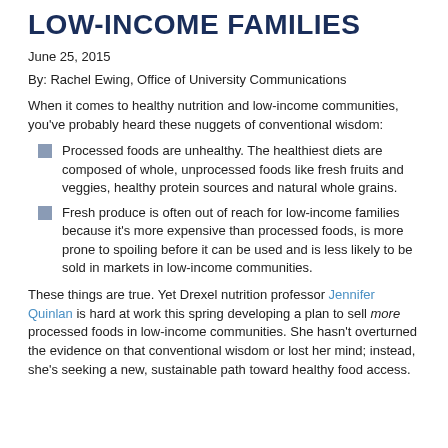LOW-INCOME FAMILIES
June 25, 2015
By: Rachel Ewing, Office of University Communications
When it comes to healthy nutrition and low-income communities, you've probably heard these nuggets of conventional wisdom:
Processed foods are unhealthy. The healthiest diets are composed of whole, unprocessed foods like fresh fruits and veggies, healthy protein sources and natural whole grains.
Fresh produce is often out of reach for low-income families because it's more expensive than processed foods, is more prone to spoiling before it can be used and is less likely to be sold in markets in low-income communities.
These things are true. Yet Drexel nutrition professor Jennifer Quinlan is hard at work this spring developing a plan to sell more processed foods in low-income communities. She hasn't overturned the evidence on that conventional wisdom or lost her mind; instead, she's seeking a new, sustainable path toward healthy food access.